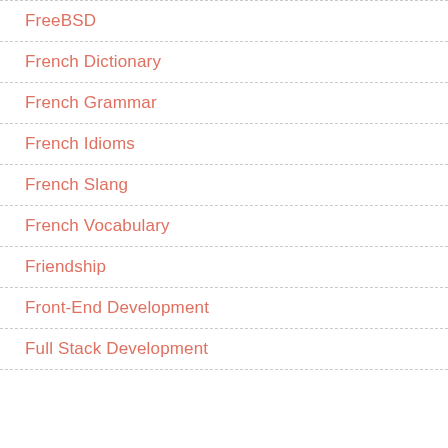FreeBSD
French Dictionary
French Grammar
French Idioms
French Slang
French Vocabulary
Friendship
Front-End Development
Full Stack Development